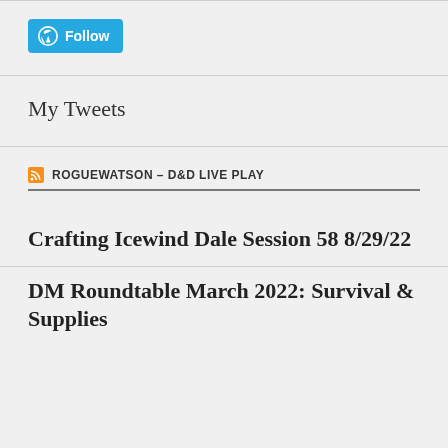[Figure (logo): WordPress Follow button with WordPress logo icon in blue/teal color]
My Tweets
ROGUEWATSON – D&D LIVE PLAY
Crafting Icewind Dale Session 58 8/29/22
DM Roundtable March 2022: Survival & Supplies